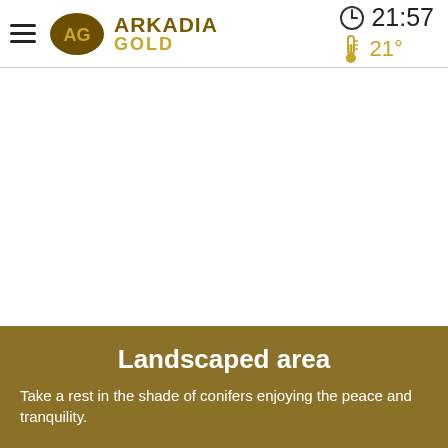Arkadia Gold — 21:57 — 21°
[Figure (other): White blank area representing main content image placeholder]
Landscaped area
Take a rest in the shade of conifers enjoying the peace and tranquility.